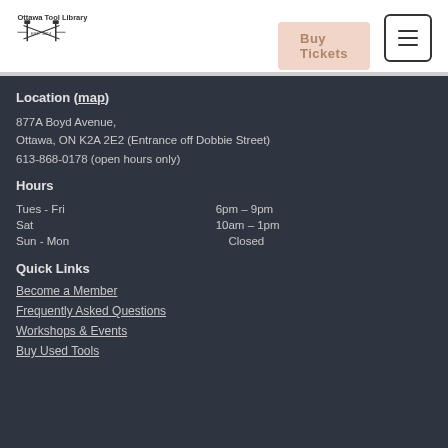[Figure (logo): Ottawa Tool Library logo with crossed hammers, EST. 2014]
Buy Tickets
Location (map)
877A Boyd Avenue,
Ottawa, ON K2A 2E2 (Entrance off Dobbie Street)
613-868-0178 (open hours only)
Hours
| Tues - Fri | 6pm – 9pm |
| Sat | 10am – 1pm |
| Sun - Mon | Closed |
Quick Links
Become a Member
Frequently Asked Questions
Workshops & Events
Buy Used Tools